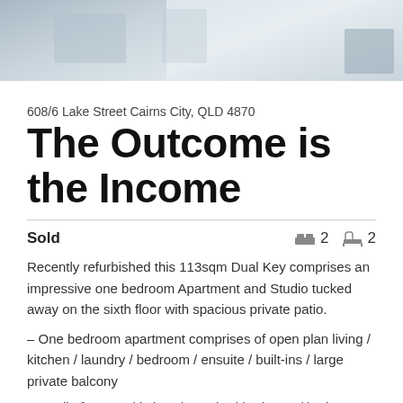[Figure (photo): Aerial/cityscape photo of Cairns city buildings, partially visible at top of page]
608/6 Lake Street Cairns City, QLD 4870
The Outcome is the Income
Sold
2 bedrooms, 2 bathrooms
Recently refurbished this 113sqm Dual Key comprises an impressive one bedroom Apartment and Studio tucked away on the sixth floor with spacious private patio.
– One bedroom apartment comprises of open plan living / kitchen / laundry / bedroom / ensuite / built-ins / large private balcony
– Studio features kitchen / attached bedroom / bathroom and